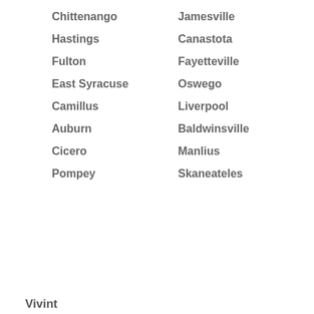Chittenango
Jamesville
Hastings
Canastota
Fulton
Fayetteville
East Syracuse
Oswego
Camillus
Liverpool
Auburn
Baldwinsville
Cicero
Manlius
Pompey
Skaneateles
Vivint